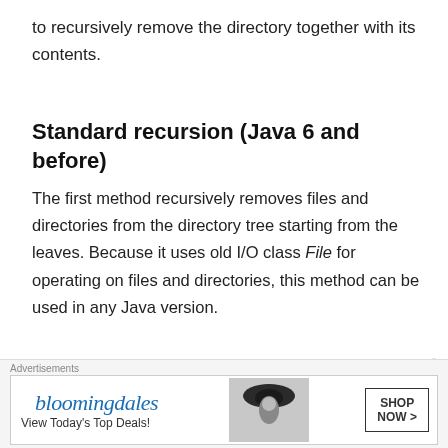to recursively remove the directory together with its contents.
Standard recursion (Java 6 and before)
The first method recursively removes files and directories from the directory tree starting from the leaves. Because it uses old I/O class File for operating on files and directories, this method can be used in any Java version.
[Figure (screenshot): Code snippet showing Java method deleteDirectoryRecursionJava6 with line numbers 1-6, using void, if, for keywords highlighted in teal/blue. Lines show: void deleteDirectoryRecursionJava6(Fi, if (file.isDirectory()) {, File[] entries = file.listFiles(), if (entries != null) {, for (File entry : entries) {, deleteDirectoryRecursionJava]
Advertisements
[Figure (other): Bloomingdale's advertisement banner: bloomingdales logo, 'View Today's Top Deals!', model with hat, SHOP NOW > button]